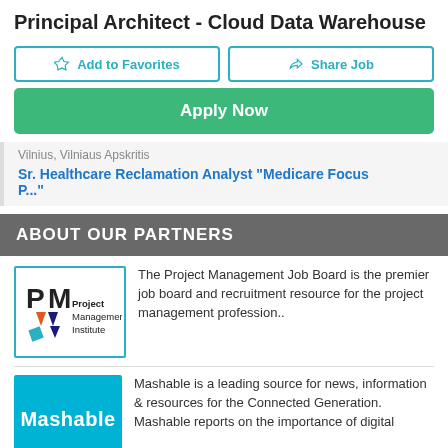Principal Architect - Cloud Data Warehouse
Add to Favorites
Share Job
Apply Now
Vilnius, Vilniaus Apskritis
Sr. Healthcare Reclamation Analyst "Medicare Focus P..."
ABOUT OUR PARTNERS
[Figure (logo): Project Management Institute logo with PM letters and geometric design]
The Project Management Job Board is the premier job board and recruitment resource for the project management profession..
[Figure (logo): Mashable logo - white text on teal/cyan background]
Mashable is a leading source for news, information & resources for the Connected Generation. Mashable reports on the importance of digital innovation and how it empowers and inspires people around